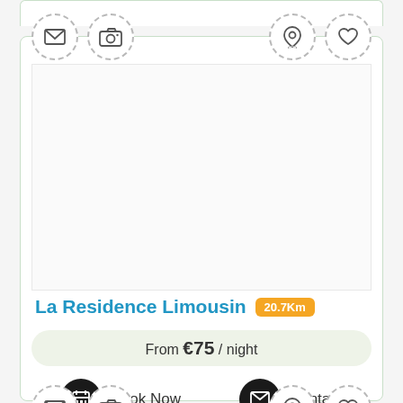[Figure (screenshot): Top partial card cut off at the top of the page — white card with green border]
[Figure (infographic): Hotel/accommodation listing card for La Residence Limousin showing icons (email, camera, location pin, heart), a blank image area, the property name, distance badge '20.7Km', price 'From €75 / night', and action buttons 'Book Now' and 'Contact']
La Residence Limousin 20.7Km
From €75 / night
Book Now
Contact
[Figure (screenshot): Bottom partial card cut off at the bottom of the page — white card with green border and icon row (email, camera, location pin, heart)]